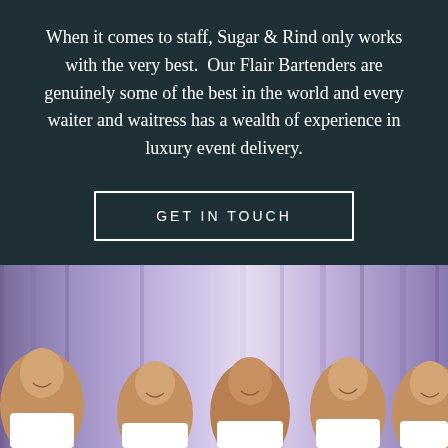When it comes to staff, Sugar & Rind only works with the very best.  Our Flair Bartenders are genuinely some of the best in the world and every waiter and waitress has a wealth of experience in luxury event delivery.
GET IN TOUCH
[Figure (photo): Group photo of five men in formal attire (white shirts) smiling, standing in front of purple/lilac draped curtain background]